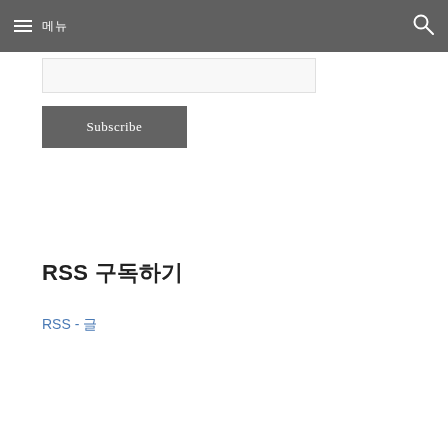≡ 메뉴  🔍
[Figure (other): Email input field — a light gray rectangular input box for entering an email address]
Subscribe
RSS 구독하기
RSS - 글